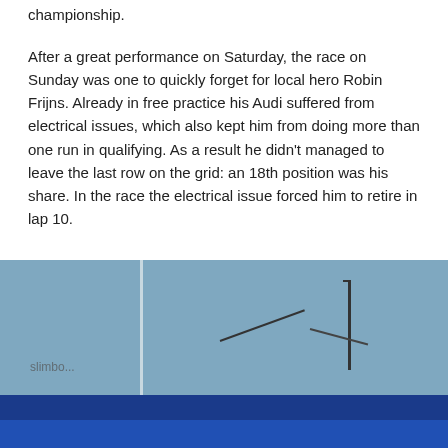championship.
After a great performance on Saturday, the race on Sunday was one to quickly forget for local hero Robin Frijns. Already in free practice his Audi suffered from electrical issues, which also kept him from doing more than one run in qualifying. As a result he didn't managed to leave the last row on the grid: an 18th position was his share. In the race the electrical issue forced him to retire in lap 10.
[Figure (photo): Photo of racing cars at a circuit, with sky background, a vertical divider, antenna/pole structure with wires, and blue racing car livery visible at the bottom. A cookie consent banner overlays the lower portion of the image.]
Privacy & Cookies: This site uses cookies. By continuing to use this website, you agree to their use.
To find out more, including how to control cookies, see here: Cookie Policy